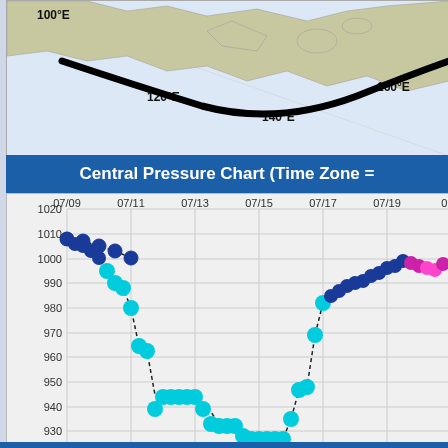[Figure (map): Partial world map showing Asia-Pacific region with longitude markers 100°E, 120°E, 140°E, 160°E. A thick black curved line (likely storm track) is drawn across the map.]
Central Pressure Chart (Time Zone =
[Figure (line-chart): Central pressure time series chart showing typhoon lifecycle. Pressure drops from ~1008 hPa on 07/09 to a minimum of ~927 hPa around 07/15-07/16, then rises back to ~998 hPa by 07/19-07/21. Data points colored dark blue (early phase), cyan/turquoise (main phase), and magenta/pink (dissipating phase).]